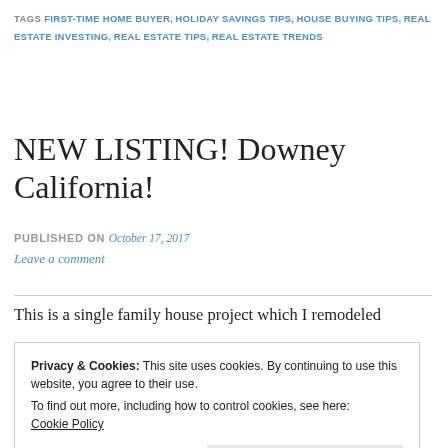TAGS: FIRST-TIME HOME BUYER, HOLIDAY SAVINGS TIPS, HOUSE BUYING TIPS, REAL ESTATE INVESTING, REAL ESTATE TIPS, REAL ESTATE TRENDS
NEW LISTING! Downey California!
PUBLISHED ON October 17, 2017
Leave a comment
This is a single family house project which I remodeled
Privacy & Cookies: This site uses cookies. By continuing to use this website, you agree to their use.
To find out more, including how to control cookies, see here:
Cookie Policy

Close and accept